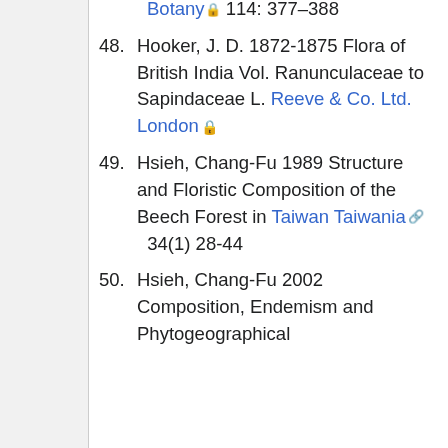Botany 114: 377–388 (partial, top cut off)
48. Hooker, J. D. 1872-1875 Flora of British India Vol. Ranunculaceae to Sapindaceae L. Reeve & Co. Ltd. London
49. Hsieh, Chang-Fu 1989 Structure and Floristic Composition of the Beech Forest in Taiwan Taiwania 34(1) 28-44
50. Hsieh, Chang-Fu 2002 Composition, Endemism and Phytogeographical